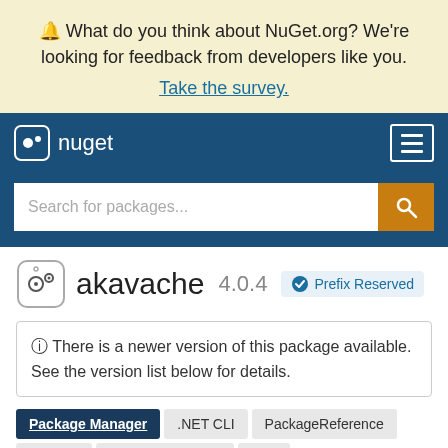🔔 What do you think about NuGet.org? We're looking for feedback from developers like you. Take the survey.
[Figure (logo): NuGet logo and navigation bar with hamburger menu and search box]
akavache 4.0.4 Prefix Reserved
ⓘ There is a newer version of this package available. See the version list below for details.
Package Manager  .NET CLI  PackageReference  Paket CLI  Script & Interactive  Cake